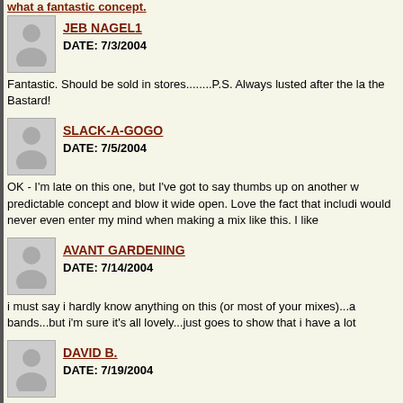what a fantastic concept.
JEB NAGEL1
DATE: 7/3/2004
Fantastic. Should be sold in stores........P.S. Always lusted after the la the Bastard!
SLACK-A-GOGO
DATE: 7/5/2004
OK - I'm late on this one, but I've got to say thumbs up on another w predictable concept and blow it wide open. Love the fact that includi would never even enter my mind when making a mix like this. I like
AVANT GARDENING
DATE: 7/14/2004
i must say i hardly know anything on this (or most of your mixes)...a bands...but i'm sure it's all lovely...just goes to show that i have a lot
DAVID B.
DATE: 7/19/2004
Any serious Beach Boys fan will appreciate all four volumes of this s Tell Me" (one of my favorites) including an amazing French one and Inform Me" was a stroke of genius. Phenomenal stuff.
DJ LUNCH BOY
DATE: 8/25/2004